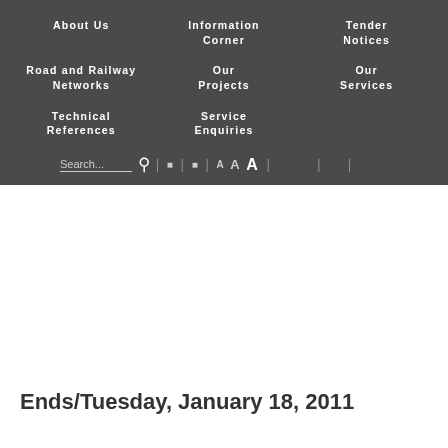About Us | Information Corner | Tender Notices | Road and Railway Networks | Our Projects | Our Services | Technical References | Service Enquiries
Ends/Tuesday, January 18, 2011